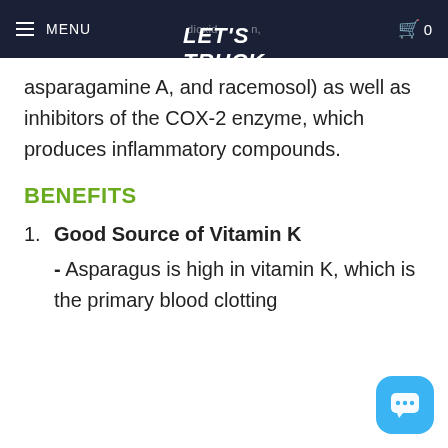MENU | LET'S TRUCK | 0
asparagamine A, and racemosol) as well as inhibitors of the COX-2 enzyme, which produces inflammatory compounds.
BENEFITS
1. Good Source of Vitamin K
- Asparagus is high in vitamin K, which is the primary blood clotting